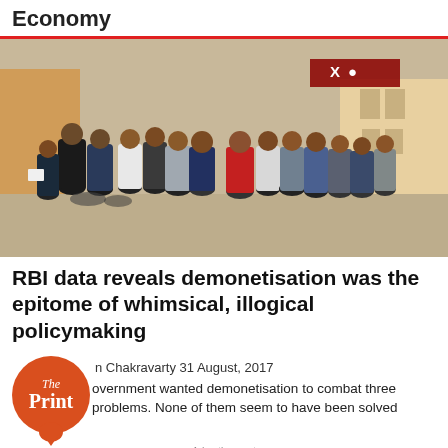Economy
[Figure (photo): A large crowd of people standing in a long queue outside a bank building, apparently waiting to exchange demonetised currency notes in India, 2016.]
RBI data reveals demonetisation was the epitome of whimsical, illogical policymaking
n Chakravarty 31 August, 2017
overnment wanted demonetisation to combat three problems. None of them seem to have been solved.
Advertisement
kenner.com.tw
Eco Friendly Cover Tape
OPEN